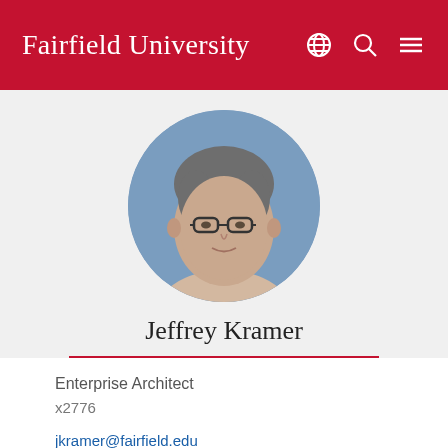Fairfield University
[Figure (photo): Circular profile photo of Jeffrey Kramer, a middle-aged man with grey hair and glasses, set against a blue background.]
Jeffrey Kramer
Enterprise Architect
x2776
jkramer@fairfield.edu